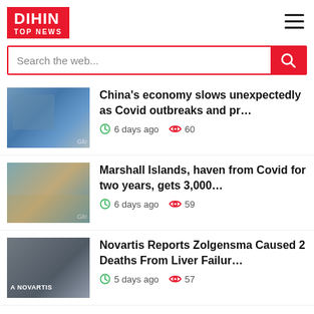DIHIN TOP NEWS
Search the web...
China's economy slows unexpectedly as Covid outbreaks and pr... 6 days ago  60
Marshall Islands, haven from Covid for two years, gets 3,000... 6 days ago  59
Novartis Reports Zolgensma Caused 2 Deaths From Liver Failur... 5 days ago  57